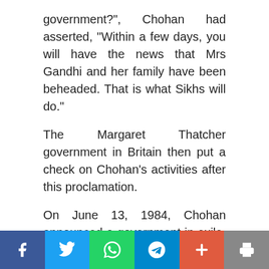government?", Chohan had asserted, "Within a few days, you will have the news that Mrs Gandhi and her family have been beheaded. That is what Sikhs will do."
The Margaret Thatcher government in Britain then put a check on Chohan's activities after this proclamation.
On June 13, 1984, Chohan announced a government in exile, and on October 31, 1984, Prime Minister Indira Gandhi was assassinated.
In 1989, Chohan hoisted the flag of Khalistan at the Anandpur Sahib